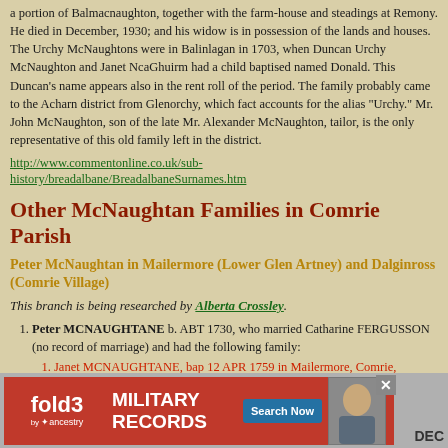a portion of Balmacnaughton, together with the farm-house and steadings at Remony. He died in December, 1930; and his widow is in possession of the lands and houses. The Urchy McNaughtons were in Balinlagan in 1703, when Duncan Urchy McNaughton and Janet NcaGhuirm had a child baptised named Donald. This Duncan's name appears also in the rent roll of the period. The family probably came to the Acharn district from Glenorchy, which fact accounts for the alias "Urchy." Mr. John McNaughton, son of the late Mr. Alexander McNaughton, tailor, is the only representative of this old family left in the district.
http://www.commentonline.co.uk/sub-history/breadalbane/BreadalbaneSurnames.htm
Other McNaughtan Families in Comrie Parish
Peter McNaughtan in Mailermore (Lower Glen Artney) and Dalginross (Comrie Village)
This branch is being researched by Alberta Crossley.
Peter MCNAUGHTANE b. ABT 1730, who married Catharine FERGUSSON (no record of marriage) and had the following family:
Janet MCNAUGHTANE, bap 12 APR 1759 in Mailermore, Comrie, Perthshire, Scotland